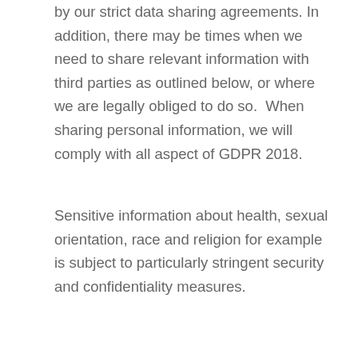by our strict data sharing agreements. In addition, there may be times when we need to share relevant information with third parties as outlined below, or where we are legally obliged to do so.  When sharing personal information, we will comply with all aspect of GDPR 2018.
Sensitive information about health, sexual orientation, race and religion for example is subject to particularly stringent security and confidentiality measures.